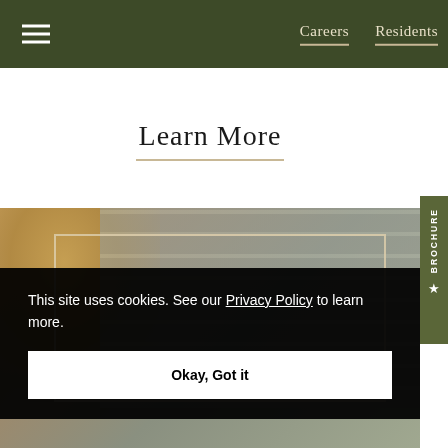Careers   Residents
Learn More
[Figure (photo): Background photo of a person with blond hair near a brick wall, partially obscured, inside a decorative frame border]
This site uses cookies. See our Privacy Policy to learn more.
Okay, Got it